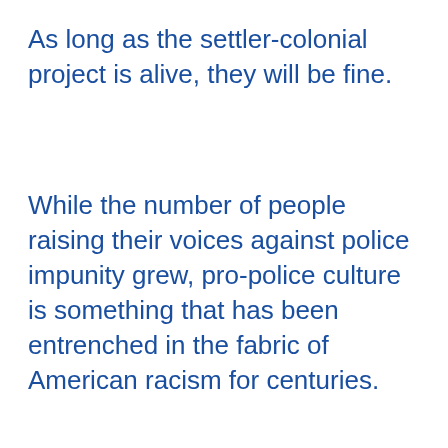As long as the settler-colonial project is alive, they will be fine.
While the number of people raising their voices against police impunity grew, pro-police culture is something that has been entrenched in the fabric of American racism for centuries.